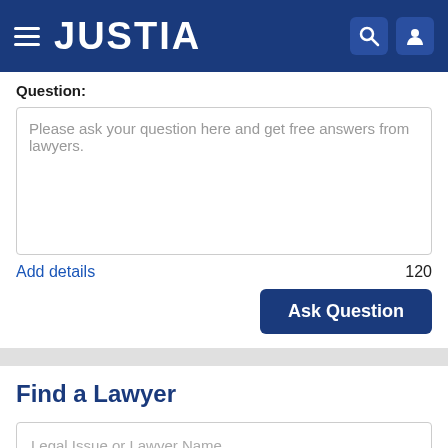JUSTIA
Question:
Please ask your question here and get free answers from lawyers.
Add details
120
Ask Question
Find a Lawyer
Legal Issue or Lawyer Name
City, State
Search